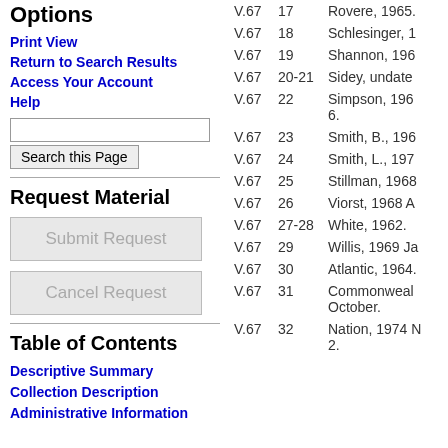Options
Print View
Return to Search Results
Access Your Account
Help
Request Material
Table of Contents
Descriptive Summary
Collection Description
Administrative Information
| Vol | No | Description |
| --- | --- | --- |
| V.67 | 17 | Rovere, 1965. |
| V.67 | 18 | Schlesinger, 1 |
| V.67 | 19 | Shannon, 196 |
| V.67 | 20-21 | Sidey, undate |
| V.67 | 22 | Simpson, 196 6. |
| V.67 | 23 | Smith, B., 196 |
| V.67 | 24 | Smith, L., 197 |
| V.67 | 25 | Stillman, 1968 |
| V.67 | 26 | Viorst, 1968 A |
| V.67 | 27-28 | White, 1962. |
| V.67 | 29 | Willis, 1969 Ja |
| V.67 | 30 | Atlantic, 1964. |
| V.67 | 31 | Commonweal October. |
| V.67 | 32 | Nation, 1974 N 2. |